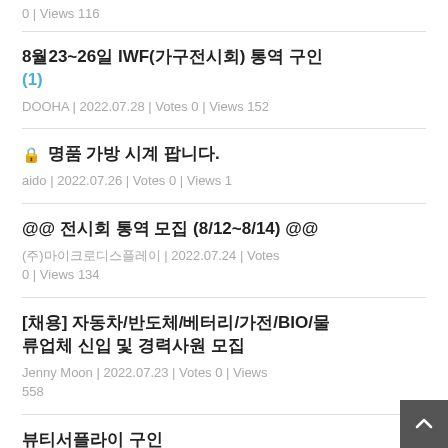0 | Views 116
8월23~26일 IWF(가구전시회) 통역 구인 (1)
DOOHA | 2022.07.28 | Votes 0 | Views 152
🔒 명품 가방 시계 팝니다.
aido | 2022.07.26 | Votes 0 | Views 1
@@ 전시회 통역 모집 (8/12~8/14) @@
(주)마이크로디스플레이 | 2022.07.24 | Votes 0 | Views 134
[채용] 자동차/반도체/베터리/가전/BIO/물류업체 신입 및 경력사원 모집
Jenny Moon | 2022.07.23 | Votes 0 | Views 558
뷰티서플라이 구인